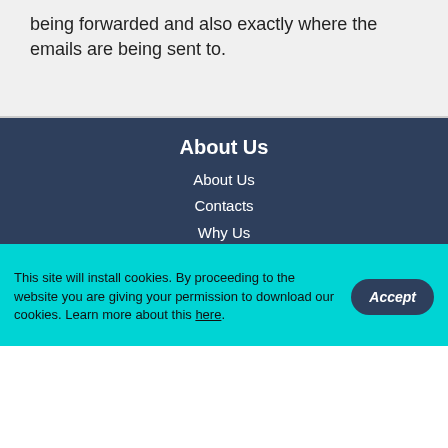being forwarded and also exactly where the emails are being sent to.
About Us
About Us
Contacts
Why Us
Website Migration
Hosting Platform
Service Guarantees
Videos
Legal
Control Panel
This site will install cookies. By proceeding to the website you are giving your permission to download our cookies. Learn more about this here.